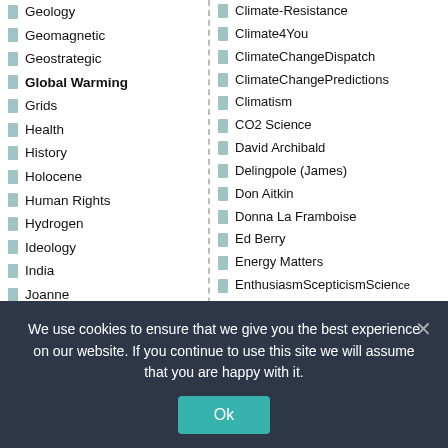Geology
Geomagnetic
Geostrategic
Global Warming
Grids
Health
History
Holocene
Human Rights
Hydrogen
Ideology
India
Joanne
Language
Lawfare
Climate-Resistance
Climate4You
ClimateChangeDispatch
ClimateChangePredictions
Climatism
CO2 Science
David Archibald
Delingpole (James)
Don Aitkin
Donna La Framboise
Ed Berry
Energy Matters
EnthusiasmScepticismScience
EU referendum
Eyes on Browne
We use cookies to ensure that we give you the best experience on our website. If you continue to use this site we will assume that you are happy with it.